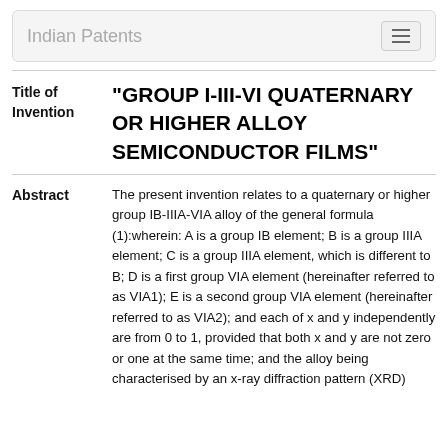Indian Patents
"GROUP I-III-VI QUATERNARY OR HIGHER ALLOY SEMICONDUCTOR FILMS"
The present invention relates to a quaternary or higher group IB-IIIA-VIA alloy of the general formula (1):wherein: A is a group IB element; B is a group IIIA element; C is a group IIIA element, which is different to B; D is a first group VIA element (hereinafter referred to as VIA1); E is a second group VIA element (hereinafter referred to as VIA2); and each of x and y independently are from 0 to 1, provided that both x and y are not zero or one at the same time; and the alloy being characterised by an x-ray diffraction pattern (XRD)